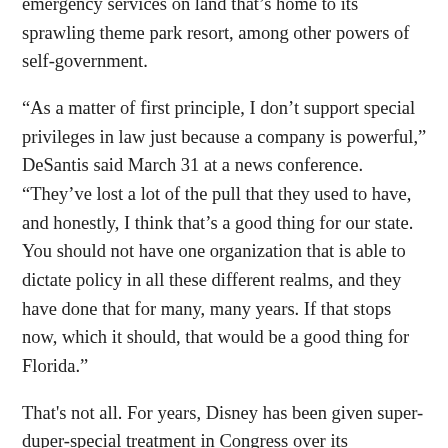emergency services on land that's home to its sprawling theme park resort, among other powers of self-government.
“As a matter of first principle, I don’t support special privileges in law just because a company is powerful,” DeSantis said March 31 at a news conference. “They’ve lost a lot of the pull that they used to have, and honestly, I think that’s a good thing for our state. You should not have one organization that is able to dictate policy in all these different realms, and they have done that for many, many years. If that stops now, which it should, that would be a good thing for Florida.”
That's not all. For years, Disney has been given super-duper-special treatment in Congress over its copyrighted characters like Mickey Mouse, which should have reverted to the public domain as long ago as 1984, but have been steadily extended through 2024